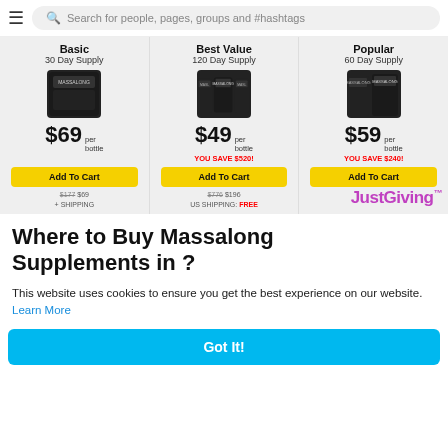Search for people, pages, groups and #hashtags
| Basic | Best Value | Popular |
| --- | --- | --- |
| 30 Day Supply | 120 Day Supply | 60 Day Supply |
| $69 per bottle | $49 per bottle | $59 per bottle |
|  | YOU SAVE $520! | YOU SAVE $240! |
| Add To Cart | Add To Cart | Add To Cart |
| $177 $69 + SHIPPING | $776 $196 US SHIPPING: FREE | JustGiving™ |
Where to Buy Massalong Supplements in ?
This website uses cookies to ensure you get the best experience on our website. Learn More
Got It!